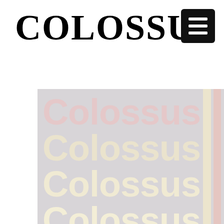COLOSSUS (2015)
[Figure (illustration): Repeated 'Colossus' text in varying pastel cream and pink tones on a gray background, with vertical stripe accents on the right side.]